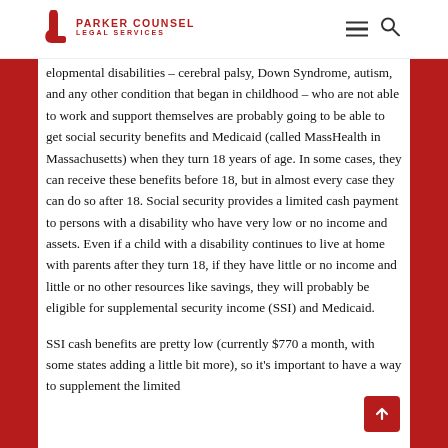Parker Counsel Legal Services
elopmental disabilities – cerebral palsy, Down Syndrome, autism, and any other condition that began in childhood – who are not able to work and support themselves are probably going to be able to get social security benefits and Medicaid (called MassHealth in Massachusetts) when they turn 18 years of age. In some cases, they can receive these benefits before 18, but in almost every case they can do so after 18. Social security provides a limited cash payment to persons with a disability who have very low or no income and assets. Even if a child with a disability continues to live at home with parents after they turn 18, if they have little or no income and little or no other resources like savings, they will probably be eligible for supplemental security income (SSI) and Medicaid.
SSI cash benefits are pretty low (currently $770 a month, with some states adding a little bit more), so it's important to have a way to supplement the limited